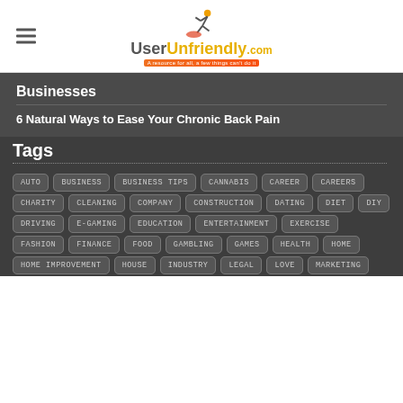UserUnfriendly.com
Businesses
6 Natural Ways to Ease Your Chronic Back Pain
Tags
AUTO
BUSINESS
BUSINESS TIPS
CANNABIS
CAREER
CAREERS
CHARITY
CLEANING
COMPANY
CONSTRUCTION
DATING
DIET
DIY
DRIVING
E-GAMING
EDUCATION
ENTERTAINMENT
EXERCISE
FASHION
FINANCE
FOOD
GAMBLING
GAMES
HEALTH
HOME
HOME IMPROVEMENT
HOUSE
INDUSTRY
LEGAL
LOVE
MARKETING